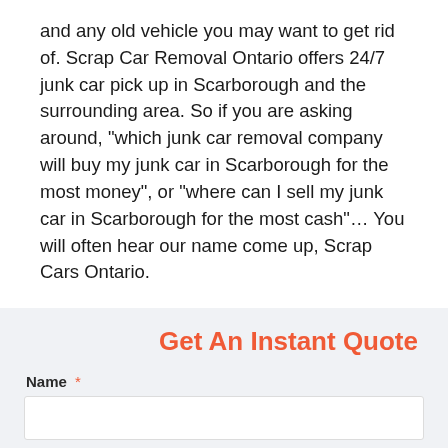and any old vehicle you may want to get rid of. Scrap Car Removal Ontario offers 24/7 junk car pick up in Scarborough and the surrounding area. So if you are asking around, "which junk car removal company will buy my junk car in Scarborough for the most money", or "where can I sell my junk car in Scarborough for the most cash"... You will often hear our name come up, Scrap Cars Ontario.
Get An Instant Quote
Name *
Phone/Mobile Number *